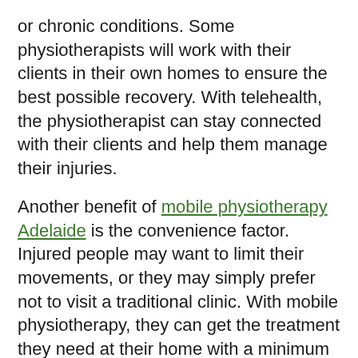or chronic conditions. Some physiotherapists will work with their clients in their own homes to ensure the best possible recovery. With telehealth, the physiotherapist can stay connected with their clients and help them manage their injuries.
Another benefit of mobile physiotherapy Adelaide is the convenience factor. Injured people may want to limit their movements, or they may simply prefer not to visit a traditional clinic. With mobile physiotherapy, they can get the treatment they need at their home with a minimum amount of inconvenience. In addition to being more convenient, mobile physiotherapists can work around lockdown situations. The following information can help you choose the right provider for your needs.
A client's health care fund may provide a rebate on the cost of physiotherapy services. The rebate amount will depend on the coverage level and the health care provider's